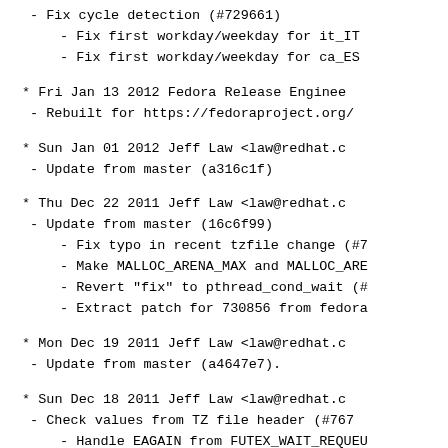- Fix cycle detection (#729661)
- Fix first workday/weekday for it_IT
- Fix first workday/weekday for ca_ES
* Fri Jan 13 2012 Fedora Release Enginee
- Rebuilt for https://fedoraproject.org/
* Sun Jan 01 2012 Jeff Law <law@redhat.c
- Update from master (a316c1f)
* Thu Dec 22 2011 Jeff Law <law@redhat.c
- Update from master (16c6f99)
- Fix typo in recent tzfile change (#7
- Make MALLOC_ARENA_MAX and MALLOC_ARE
- Revert "fix" to pthread_cond_wait (#
- Extract patch for 730856 from fedora
* Mon Dec 19 2011 Jeff Law <law@redhat.c
- Update from master (a4647e7).
* Sun Dec 18 2011 Jeff Law <law@redhat.c
- Check values from TZ file header (#767
- Handle EAGAIN from FUTEX_WAIT_REQUEU